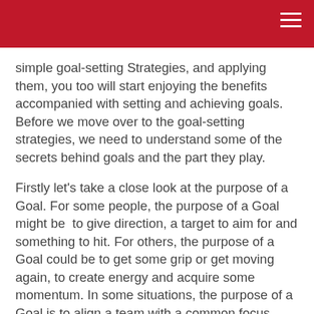simple goal-setting Strategies, and applying them, you too will start enjoying the benefits accompanied with setting and achieving goals. Before we move over to the goal-setting strategies, we need to understand some of the secrets behind goals and the part they play.
Firstly let's take a close look at the purpose of a Goal. For some people, the purpose of a Goal might be to give direction, a target to aim for and something to hit. For others, the purpose of a Goal could be to get some grip or get moving again, to create energy and acquire some momentum. In some situations, the purpose of a Goal is to align a team with a common focus. Whilst all these are valuable purposes of goal setting, the chief purpose and the number one reason for setting a goal is simply to ACHIEVE it!